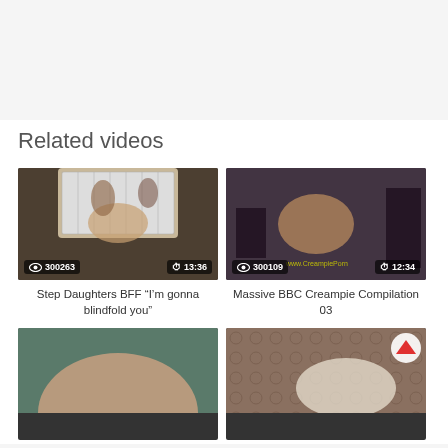Related videos
[Figure (screenshot): Video thumbnail: two women in bedroom scene, views 300263, duration 13:36]
Step Daughters BFF “I’m gonna blindfold you”
[Figure (screenshot): Video thumbnail: woman in lingerie scene, watermark www.CreampiePorn, views 300109, duration 12:34]
Massive BBC Creampie Compilation 03
[Figure (screenshot): Video thumbnail: bottom partial view, teal background]
[Figure (screenshot): Video thumbnail: woman in white lingerie on patterned fabric]